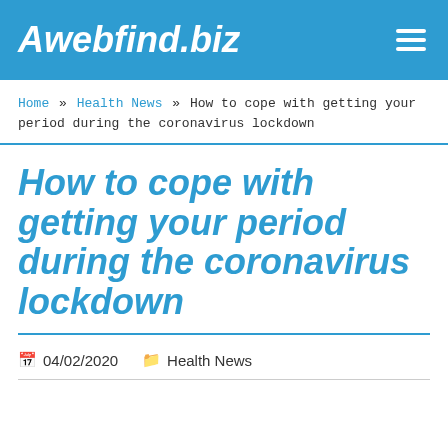Awebfind.biz
Home » Health News » How to cope with getting your period during the coronavirus lockdown
How to cope with getting your period during the coronavirus lockdown
04/02/2020   Health News